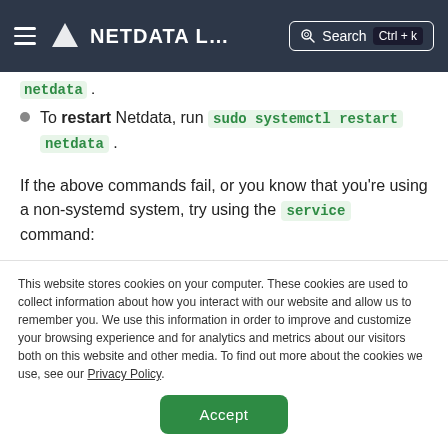NETDATA L… Search Ctrl+k
netdata .
To restart Netdata, run sudo systemctl restart netdata .
If the above commands fail, or you know that you're using a non-systemd system, try using the service command:
This website stores cookies on your computer. These cookies are used to collect information about how you interact with our website and allow us to remember you. We use this information in order to improve and customize your browsing experience and for analytics and metrics about our visitors both on this website and other media. To find out more about the cookies we use, see our Privacy Policy.